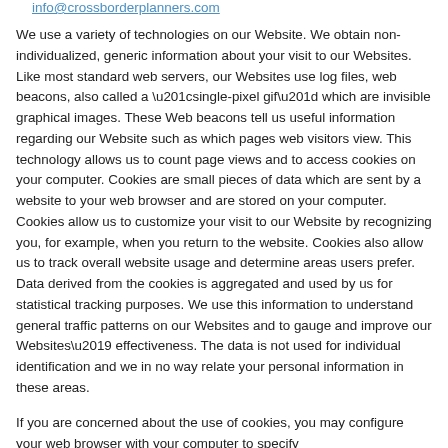info@crossborderplanners.com
We use a variety of technologies on our Website. We obtain non-individualized, generic information about your visit to our Websites. Like most standard web servers, our Websites use log files, web beacons, also called a “single-pixel gif” which are invisible graphical images. These Web beacons tell us useful information regarding our Website such as which pages web visitors view. This technology allows us to count page views and to access cookies on your computer. Cookies are small pieces of data which are sent by a website to your web browser and are stored on your computer. Cookies allow us to customize your visit to our Website by recognizing you, for example, when you return to the website. Cookies also allow us to track overall website usage and determine areas users prefer. Data derived from the cookies is aggregated and used by us for statistical tracking purposes. We use this information to understand general traffic patterns on our Websites and to gauge and improve our Websites’ effectiveness. The data is not used for individual identification and we in no way relate your personal information in these areas.
If you are concerned about the use of cookies, you may configure your web browser with your computer to specify